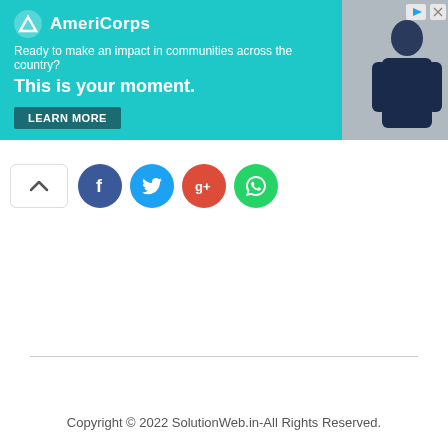[Figure (other): AmeriCorps advertisement banner with teal background. Logo with triangle icon and 'AmeriCorps' text. Tagline: 'Ready to make an impact in communities across the country?' Headline: 'This is your moment.' with a 'LEARN MORE' button. Photo of a person on the right side.]
[Figure (other): Social sharing buttons row: up-arrow toggle, Facebook (blue circle), Twitter (blue circle), Google+ (red circle), WhatsApp (green circle)]
Copyright © 2022 SolutionWeb.in-All Rights Reserved.